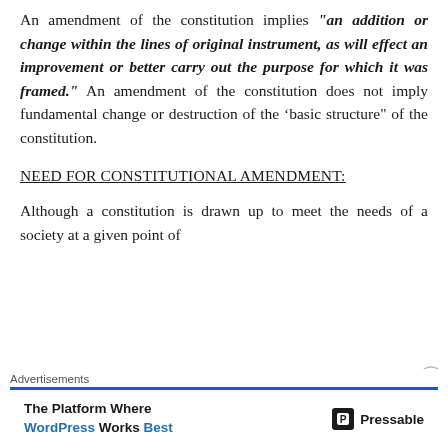An amendment of the constitution implies "an addition or change within the lines of original instrument, as will effect an improvement or better carry out the purpose for which it was framed." An amendment of the constitution does not imply fundamental change or destruction of the 'basic structure" of the constitution.
NEED FOR CONSTITUTIONAL AMENDMENT:
Although a constitution is drawn up to meet the needs of a society at a given point of